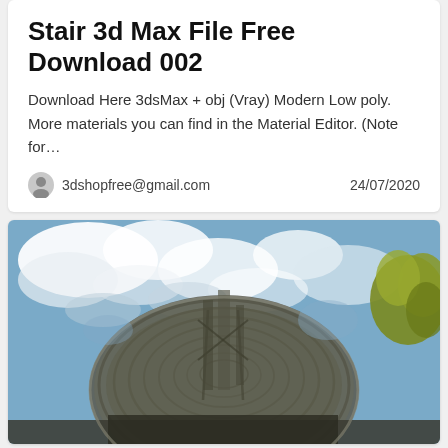Stair 3d Max File Free Download 002
Download Here 3dsMax + obj (Vray) Modern Low poly. More materials you can find in the Material Editor. (Note for…
3dshopfree@gmail.com    24/07/2020
[Figure (photo): Large satellite dish photographed from below against a cloudy blue sky, with a yellow-green tree visible in the top right corner.]